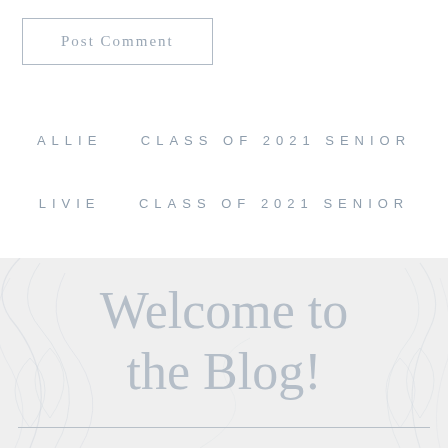Post Comment
ALLIE   CLASS OF 2021 SENIOR
LIVIE   CLASS OF 2021 SENIOR
Welcome to the Blog!